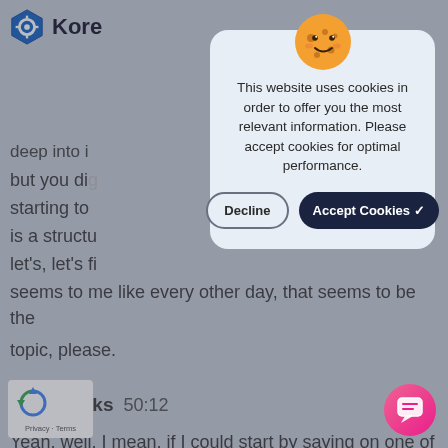[Figure (screenshot): Website screenshot with KoreConX logo in top-left corner, partially visible behind a cookie consent modal. Background shows grey page with transcript text.]
deep into i
but you di
starting to
is a structu
let's, let's fi
seems to me like every other day, that seems to be the topic, please.
Sara Hanks  50:12
Yeah, well, I mean, if I could start by saying on one of the things, so we keep a record of all of the offerings, been made under Reg A of which they w, that's last week's numbers. So someone
[Figure (screenshot): Cookie consent modal with orange cookie emoji illustration, text reading 'This website uses cookies in order to offer you the most relevant information. Please accept cookies for optimal performance.' with Decline and Accept Cookies buttons.]
This website uses cookies in order to offer you the most relevant information. Please accept cookies for optimal performance.
[Figure (logo): reCAPTCHA badge with Google reCAPTCHA logo and Privacy - Terms text]
[Figure (illustration): Pink circular chat button in bottom right corner]